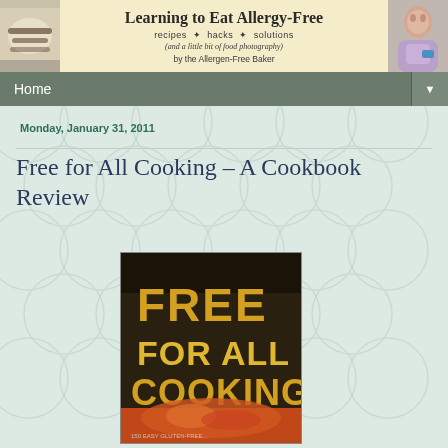Learning to Eat Allergy-Free
recipes * hacks * solutions
(and a little bit of food photography)
by the Allergen-Free Baker
Home
Monday, January 31, 2011
Free for All Cooking – A Cookbook Review
[Figure (photo): Book cover of 'Free for All Cooking' showing large orange text on dark background with food image and subtitle '150 Easy Gluten-Free...']